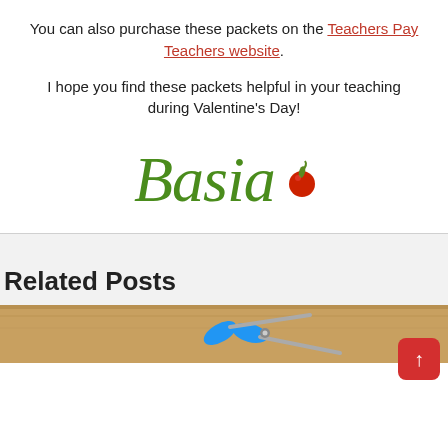You can also purchase these packets on the Teachers Pay Teachers website.
I hope you find these packets helpful in your teaching during Valentine's Day!
[Figure (illustration): Stylized green cursive signature 'Basia' with a red apple emoji]
Related Posts
[Figure (photo): Photo of blue scissors on a wooden surface]